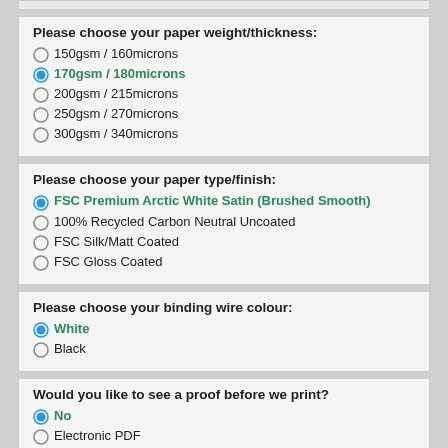Please choose your paper weight/thickness:
150gsm / 160microns
170gsm / 180microns (selected)
200gsm / 215microns
250gsm / 270microns
300gsm / 340microns
Please choose your paper type/finish:
FSC Premium Arctic White Satin (Brushed Smooth) (selected)
100% Recycled Carbon Neutral Uncoated
FSC Silk/Matt Coated
FSC Gloss Coated
Please choose your binding wire colour:
White (selected)
Black
Would you like to see a proof before we print?
No (selected)
Electronic PDF
A Printed Proof prior to the main run (please